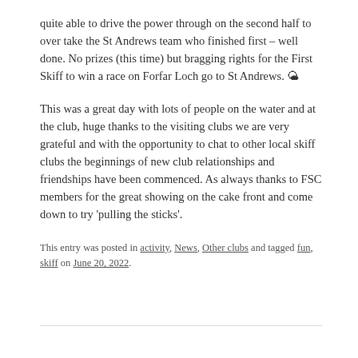quite able to drive the power through on the second half to over take the St Andrews team who finished first – well done. No prizes (this time) but bragging rights for the First Skiff to win a race on Forfar Loch go to St Andrews. 🌤
This was a great day with lots of people on the water and at the club, huge thanks to the visiting clubs we are very grateful and with the opportunity to chat to other local skiff clubs the beginnings of new club relationships and friendships have been commenced. As always thanks to FSC members for the great showing on the cake front and come down to try 'pulling the sticks'.
This entry was posted in activity, News, Other clubs and tagged fun, skiff on June 20, 2022.